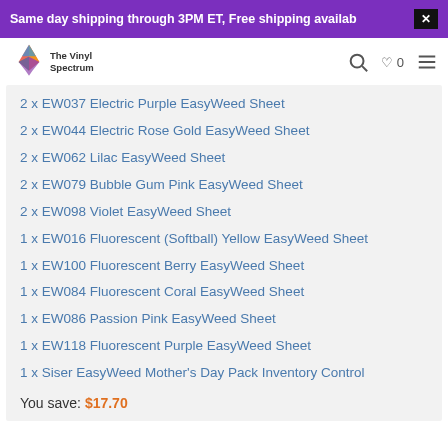Same day shipping through 3PM ET, Free shipping availab
2 x EW037 Electric Purple EasyWeed Sheet
2 x EW044 Electric Rose Gold EasyWeed Sheet
2 x EW062 Lilac EasyWeed Sheet
2 x EW079 Bubble Gum Pink EasyWeed Sheet
2 x EW098 Violet EasyWeed Sheet
1 x EW016 Fluorescent (Softball) Yellow EasyWeed Sheet
1 x EW100 Fluorescent Berry EasyWeed Sheet
1 x EW084 Fluorescent Coral EasyWeed Sheet
1 x EW086 Passion Pink EasyWeed Sheet
1 x EW118 Fluorescent Purple EasyWeed Sheet
1 x Siser EasyWeed Mother's Day Pack Inventory Control
You save: $17.70